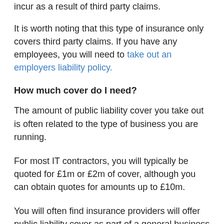incur as a result of third party claims.
It is worth noting that this type of insurance only covers third party claims. If you have any employees, you will need to take out an employers liability policy.
How much cover do I need?
The amount of public liability cover you take out is often related to the type of business you are running.
For most IT contractors, you will typically be quoted for £1m or £2m of cover, although you can obtain quotes for amounts up to £10m.
You will often find insurance providers will offer public liability cover as part of a general business insurance package, which may also contain employers liability cover and even 'office insurance'.